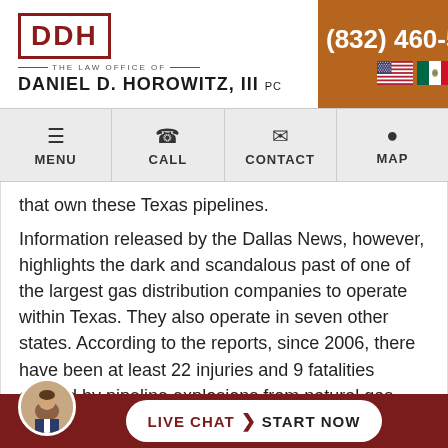[Figure (logo): DDH logo with 'The Law Office of Daniel D. Horowitz, III PC' text and phone number (832) 460-5181 with US and Mexico flags]
MENU  CALL  CONTACT  MAP
that own these Texas pipelines.
Information released by the Dallas News, however, highlights the dark and scandalous past of one of the largest gas distribution companies to operate within Texas. They also operate in seven other states. According to the reports, since 2006, there have been at least 22 injuries and 9 fatalities caused by pipeline explosions from natural gas leaks in the Dallas-Fort Worth area. Each pipeline was owned by the same gas distri[bution company]